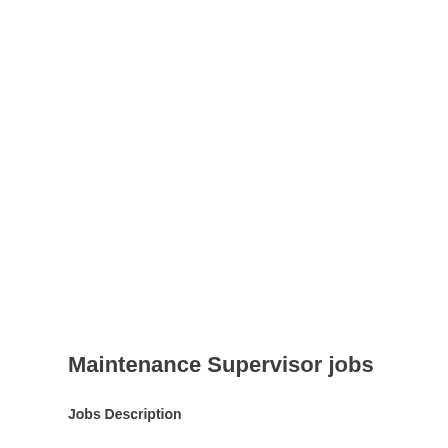Maintenance Supervisor jobs
Jobs Description